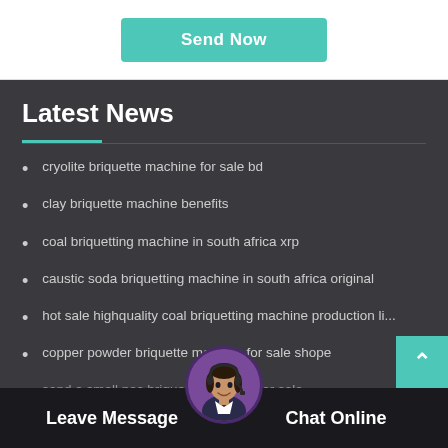Send Now
Latest News
cryolite briquette machine for sale bd
clay briquette machine benefits
coal briquetting machine in south africa xrp
caustic soda briquetting machine in south africa original
hot sale highquality coal briquetting machine production li...
copper powder briquette machine for sale shope
sand a small pec briquette machine for sale
Leave Message
Chat Online